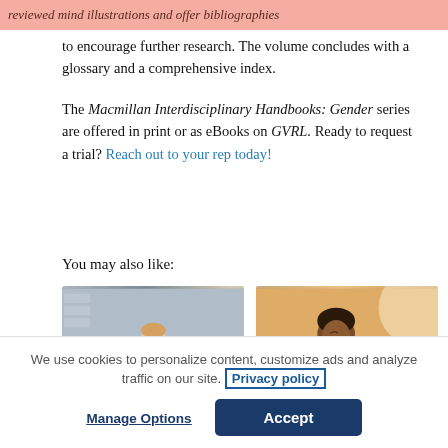reviewed mind illustrations and offer bibliographies
to encourage further research. The volume concludes with a glossary and a comprehensive index.
The Macmillan Interdisciplinary Handbooks: Gender series are offered in print or as eBooks on GVRL. Ready to request a trial? Reach out to your rep today!
You may also like:
[Figure (photo): Woman with glasses sitting on steps outdoors looking at phone]
[Figure (photo): Woman smiling and holding a tablet device]
We use cookies to personalize content, customize ads and analyze traffic on our site. Privacy policy
Manage Options
Accept